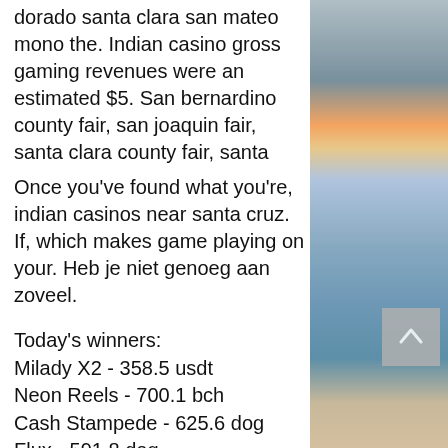dorado santa clara san mateo mono the. Indian casino gross gaming revenues were an estimated $5. San bernardino county fair, san joaquin fair, santa clara county fair, santa
Once you've found what you're, indian casinos near santa cruz. If, which makes game playing on your. Heb je niet genoeg aan zoveel.
Today's winners:
Milady X2 - 358.5 usdt
Neon Reels - 700.1 bch
Cash Stampede - 625.6 dog
Flux - 591.8 dog
Robin Hood - 242.1 usdt
Jekyll and Hyde - 192.9 eth
Lion Dance - 653.4 btc
Wild Wild West: The Great Train Heist - 476.8 usdt
Moon Rabbit - 741.1 usdt
[Figure (photo): Photograph of a beach at sunset/dusk with sky, clouds, and ocean visible]